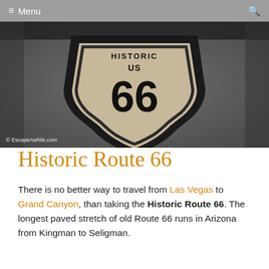Menu
[Figure (photo): Close-up photo of a Route 66 shield sign painted on dark asphalt pavement, showing 'HISTORIC US 66' with a watermark '© EscapeAwhile.com' in the lower left corner.]
Historic Route 66
There is no better way to travel from Las Vegas to Grand Canyon, than taking the Historic Route 66. The longest paved stretch of old Route 66 runs in Arizona from Kingman to Seligman.